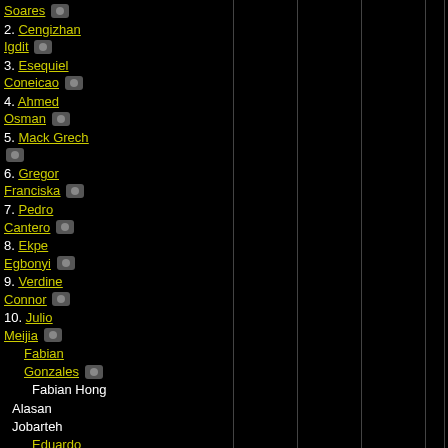Soares [icon]
2. Cengizhan Igdit [icon]
3. Esequiel Coneicao [icon]
4. Ahmed Osman [icon]
5. Mack Grech [icon]
6. Gregor Franciska [icon]
7. Pedro Cantero [icon]
8. Ekpe Egbonyi [icon]
9. Verdine Connor [icon]
10. Julio Meijia [icon]
Fabian Gonzales [icon]
Fabian Hong
Alasan Jobarteh
Eduardo Miranda [icon]
Ortiz
7. Ro Valen
8. Mi Balco [icon]
9. Ma Carro
10. R Soares Guar [icon]
Su Hern [icon]
Tif Nano Ma Cik [icon]
Sh Moon Je Gray Bru Casta Miya